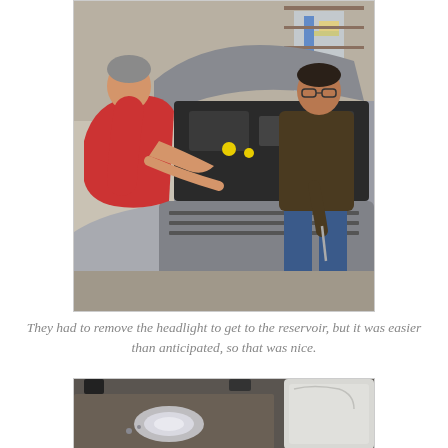[Figure (photo): Two men working on the engine bay of a car in a garage/shop. One man in a red shirt leans over the front of the car working with his hands in the engine compartment, while another man in a dark brown long-sleeve shirt stands to the right holding a tool. The car hood is open revealing the engine area. Shop equipment is visible in the background.]
They had to remove the headlight to get to the reservoir, but it was easier than anticipated, so that was nice.
[Figure (photo): View of a removed headlight assembly and other car parts placed on the floor/mat of an auto shop. A white bumper or body panel is visible on the right side.]